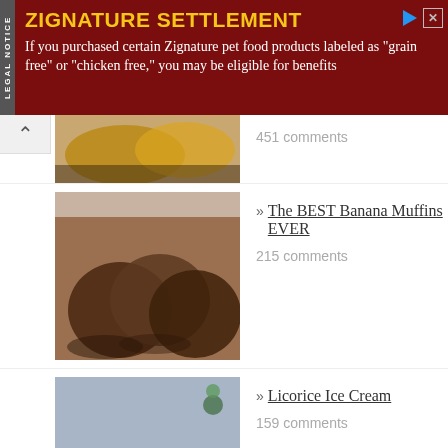[Figure (other): Zignature Settlement ad banner with dark red background. Title: ZIGNATURE SETTLEMENT. Body: If you purchased certain Zignature pet food products labeled as "grain free" or "chicken free," you may be eligible for benefits]
451 comments
[Figure (photo): Photo of golden brown scones or biscuits on a plate]
[Figure (photo): Photo of banana muffins]
» The BEST Banana Muffins EVER
215 comments
[Figure (photo): Photo of licorice ice cream in white bowls]
» Licorice Ice Cream
159 comments
[Figure (photo): Photo of homemade bread and butter pickles in a white bowl on dark background]
» Best Homemade Bread and Butter Pickles
152 comments
[Figure (photo): Photo of eggless sugar cookies]
» Eggless Sugar Cookies